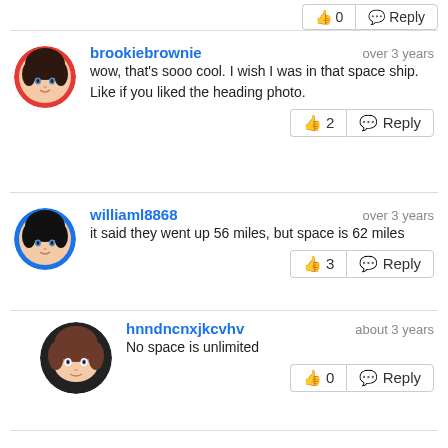👍 0  Reply
brookiebrownie — over 3 years — wow, that's sooo cool. I wish I was in that space ship. Like if you liked the heading photo. — 👍 2  Reply
williaml8868 — over 3 years — it said they went up 56 miles, but space is 62 miles — 👍 3  Reply
hnndncnxjkcvhv — about 3 years — No space is unlimited — 👍 0  Reply
williaml8868 — over 3 years — he did not really go to space